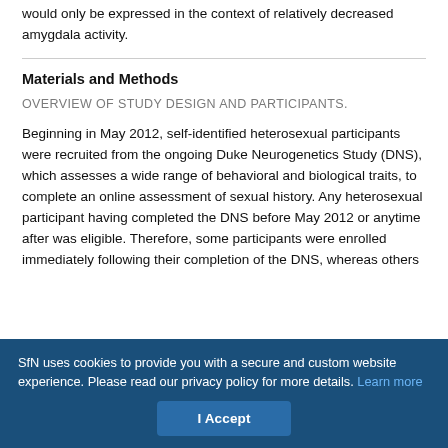would only be expressed in the context of relatively decreased amygdala activity.
Materials and Methods
OVERVIEW OF STUDY DESIGN AND PARTICIPANTS.
Beginning in May 2012, self-identified heterosexual participants were recruited from the ongoing Duke Neurogenetics Study (DNS), which assesses a wide range of behavioral and biological traits, to complete an online assessment of sexual history. Any heterosexual participant having completed the DNS before May 2012 or anytime after was eligible. Therefore, some participants were enrolled immediately following their completion of the DNS, whereas others
SfN uses cookies to provide you with a secure and custom website experience. Please read our privacy policy for more details. Learn more
I Accept